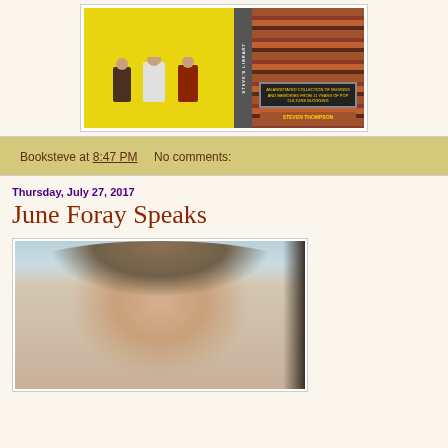[Figure (photo): Book cover image for 'Steve's Library' by Steven Thompson, showing three people standing in a bookstore with yellow spine and bookshelf background]
Booksteve at 8:47 PM    No comments:
Thursday, July 27, 2017
June Foray Speaks
[Figure (photo): Portrait photo of June Foray, a woman with layered brown hair]